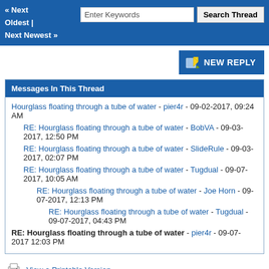« Next Oldest | Next Newest »  [Enter Keywords] [Search Thread]
[Figure (other): NEW REPLY button with pencil/paper icon]
Messages In This Thread
Hourglass floating through a tube of water - pier4r - 09-02-2017, 09:24 AM
RE: Hourglass floating through a tube of water - BobVA - 09-03-2017, 12:50 PM
RE: Hourglass floating through a tube of water - SlideRule - 09-03-2017, 02:07 PM
RE: Hourglass floating through a tube of water - Tugdual - 09-07-2017, 10:05 AM
RE: Hourglass floating through a tube of water - Joe Horn - 09-07-2017, 12:13 PM
RE: Hourglass floating through a tube of water - Tugdual - 09-07-2017, 04:43 PM
RE: Hourglass floating through a tube of water - pier4r - 09-07-2017 12:03 PM
View a Printable Version